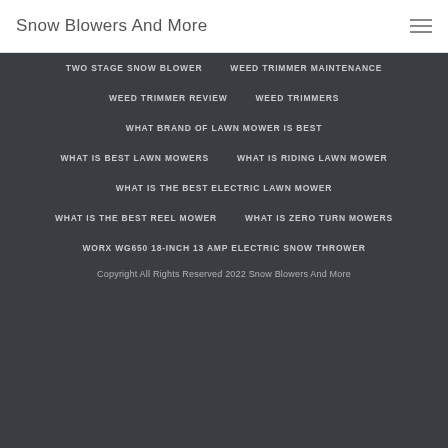Snow Blowers And More
TWO STAGE SNOW BLOWER
WEED TRIMMER MAINTENANCE
WEED TRIMMER REVIEW
WEED TRIMMERS
WHAT BRAND OF LAWN MOWER IS BEST
WHAT IS BEST LAWN MOWERS
WHAT IS RIDING LAWN MOWER
WHAT IS THE BEST ELECTRIC LAWN MOWER
WHAT IS THE BEST REEL MOWER
WHAT IS ZERO TURN MOWERS
WORX WG650 18-INCH 13 AMP ELECTRIC SNOW THROWER
Copyright All Rights Reserved 2022 Snow Blowers And More